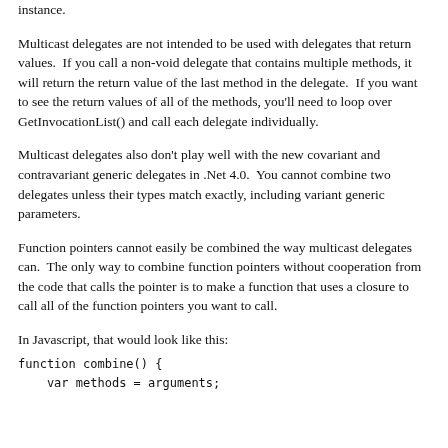instance.
Multicast delegates are not intended to be used with delegates that return values.  If you call a non-void delegate that contains multiple methods, it will return the return value of the last method in the delegate.  If you want to see the return values of all of the methods, you'll need to loop over GetInvocationList() and call each delegate individually.
Multicast delegates also don't play well with the new covariant and contravariant generic delegates in .Net 4.0.  You cannot combine two delegates unless their types match exactly, including variant generic parameters.
Function pointers cannot easily be combined the way multicast delegates can.  The only way to combine function pointers without cooperation from the code that calls the pointer is to make a function that uses a closure to call all of the function pointers you want to call.
In Javascript, that would look like this:
function combine() {
    var methods = arguments;